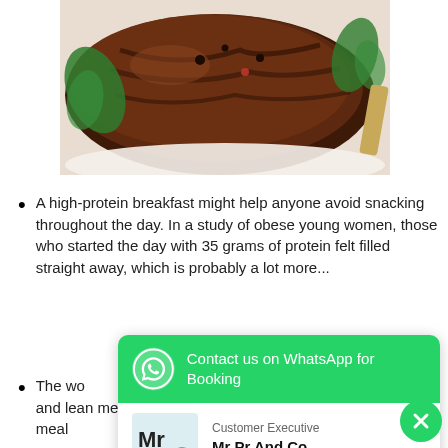[Figure (photo): Close-up photo of a grilled steak with peppercorns and fresh herbs on a white plate]
A high-protein breakfast might help anyone avoid snacking throughout the day. In a study of obese young women, those who started the day with 35 grams of protein felt filled straight away, which is probably a lot more...
The wo... calorie breakfast consisting of eggs and lean meat and chicken. The benefit of the high-protein meal
[Figure (screenshot): WhatsApp contact widget popup with green header 'Contact us on WhatsApp for Booking', showing Customer Executive Mr Pr And Co with Online status, and a close (X) button]